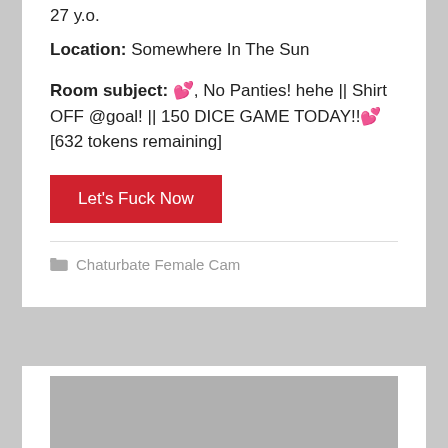27 y.o.
Location: Somewhere In The Sun
Room subject: 💕, No Panties! hehe || Shirt OFF @goal! || 150 DICE GAME TODAY!!💕 [632 tokens remaining]
Let's Fuck Now
Chaturbate Female Cam
[Figure (photo): Gray placeholder image at the bottom of the page]